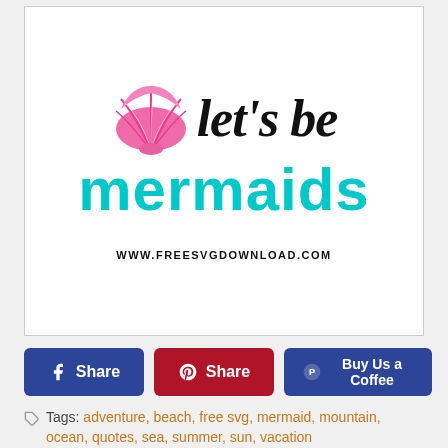[Figure (illustration): A decorative SVG design with a pink seashell and the text 'let's be mermaids' in black cursive and teal bold font. Website URL 'WWW.FREESVGDOWNLOAD.COM' shown at bottom.]
Share
Share
Buy Us a Coffee
Tags: adventure, beach, free svg, mermaid, mountain, ocean, quotes, sea, summer, sun, vacation